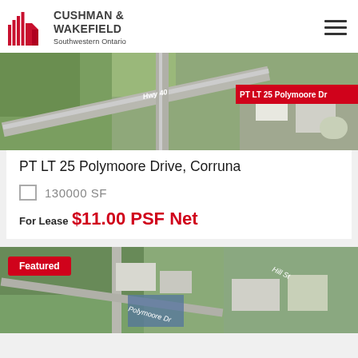[Figure (logo): Cushman & Wakefield logo with red building icon and text 'Southwestern Ontario']
[Figure (photo): Aerial satellite view showing Hwy 40 intersection and PT LT 25 Polymoore Dr label]
PT LT 25 Polymoore Drive, Corruna
130000 SF
For Lease
$11.00 PSF Net
[Figure (photo): Aerial satellite view showing Polymoore Dr and Hill St with Featured badge]